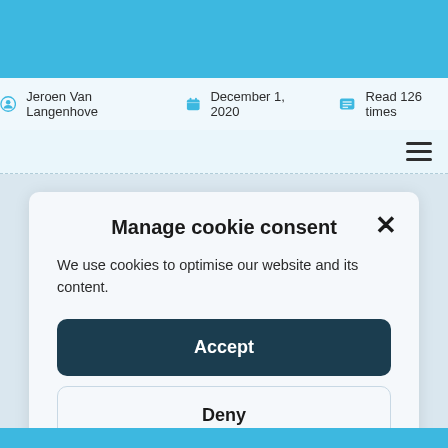Jeroen Van Langenhove · December 1, 2020 · Read 126 times
[Figure (screenshot): Navigation hamburger menu icon (three horizontal lines) on light blue background]
Manage cookie consent
We use cookies to optimise our website and its content.
Accept
Deny
Choose your cookies